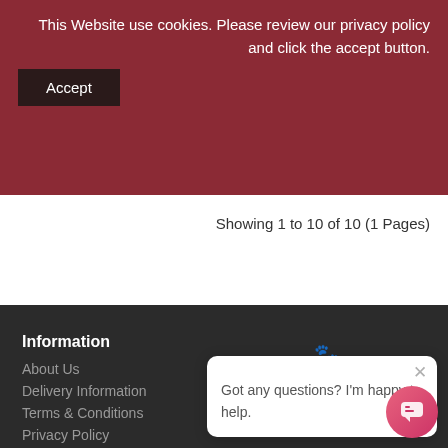This Website use cookies. Please review our privacy policy and click the accept button.
Accept
Showing 1 to 10 of 10 (1 Pages)
Information
About Us
Delivery Information
Terms & Conditions
Privacy Policy
SNAP Finance Info
Customer Service
Contact Us
Site Map
Extras
Specials
Got any questions? I'm happy to help.